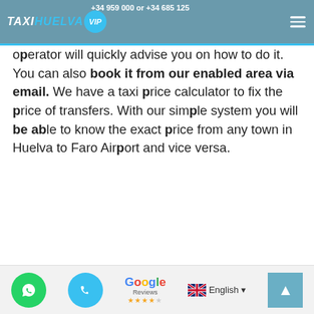+34 959 000 or +34 685 125 000 (WhatsApp) and our operator will quickly advise you on how to do it.
operator will quickly advise you on how to do it. You can also book it from our enabled area via email. We have a taxi price calculator to fix the price of transfers. With our simple system you will be able to know the exact price from any town in Huelva to Faro Airport and vice versa.
Book a taxi transfer from Huelva to the Airport of Faro.
WhatsApp | Phone | Google Reviews ★★★★☆ | English | Scroll to top